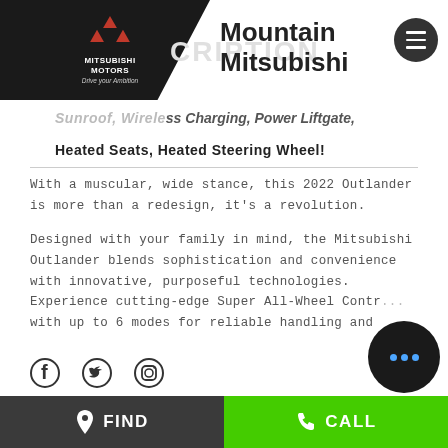[Figure (logo): Mitsubishi Motors logo with three red diamonds and 'Drive your Ambition' tagline on dark background]
Mountain Mitsubishi
Sunroof, Wireless Charging, Power Liftgate, Heated Seats, Heated Steering Wheel!
With a muscular, wide stance, this 2022 Outlander is more than a redesign, it's a revolution.
Designed with your family in mind, the Mitsubishi Outlander blends sophistication and convenience with innovative, purposeful technologies. Experience cutting-edge Super All-Wheel Contr... with up to 6 modes for reliable handling and
[Figure (illustration): Social media icons: Facebook, Twitter, Instagram]
FIND   CALL